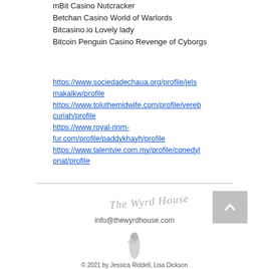mBit Casino Nutcracker
Betchan Casino World of Warlords
Bitcasino.io Lovely lady
Bitcoin Penguin Casino Revenge of Cyborgs
https://www.sociedadechaua.org/profile/jelsmakalkw/profile
https://www.toluthemidwife.com/profile/verebcuriah/profile
https://www.royal-rinm-fur.com/profile/paddykhayh/profile
https://www.talentvie.com.my/profile/conedylonat/profile
info@thewyrdhouse.com
© 2021 by Jessica Riddell, Lisa Dickson